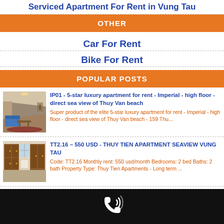Serviced Apartment For Rent in Vung Tau
OTHER
Car For Rent
Bike For Rent
POPULAR POSTS
[Figure (photo): Interior of a luxury apartment hallway with blue sofa]
IP01 - 5-star luxury apartment for rent - Imperial - high floor - direct sea view of Thuy Van beach
Super product of the elite 5-star luxury apartment for rent - Imperial - high floor - direct sea view of Thuy Van beach - 159 Thu...
[Figure (photo): Interior of an apartment room with wooden wardrobes]
TT2.16 – 550 USD - THUY TIEN APARTMENT SEAVIEW VUNG TAU
Code: TT2.16 Monthly rent: 550 usd/month Bedrooms: 2 bed Baths: 2 bath Property Type: Thuy Tien Apartments - Long term ...
[Figure (illustration): Phone icon on black footer bar]